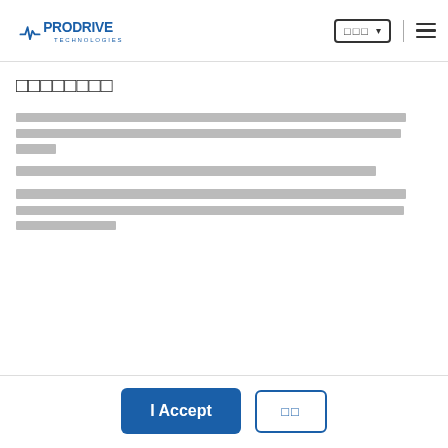Prodrive Technologies - header with language selector and navigation menu
[redacted title text]
[redacted body paragraph 1]
[redacted body paragraph 2]
[redacted body paragraph 3]
I Accept | [redacted decline button]